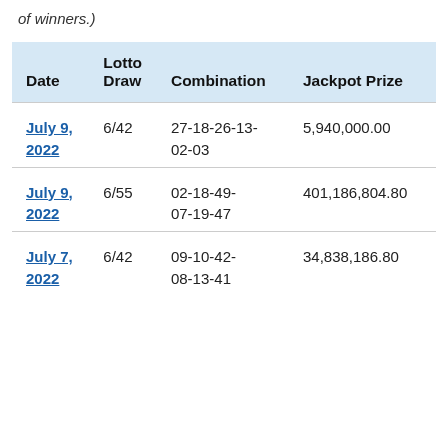of winners.)
| Date | Lotto Draw | Combination | Jackpot Prize |
| --- | --- | --- | --- |
| July 9, 2022 | 6/42 | 27-18-26-13-02-03 | 5,940,000.00 |
| July 9, 2022 | 6/55 | 02-18-49-07-19-47 | 401,186,804.80 |
| July 7, 2022 | 6/42 | 09-10-42-08-13-41 | 34,838,186.80 |